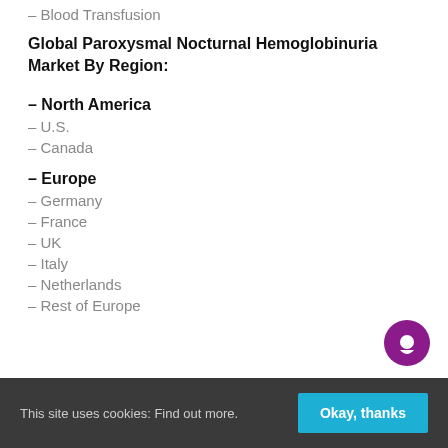– Blood Transfusion
Global Paroxysmal Nocturnal Hemoglobinuria Market By Region:
– North America
– U.S.
– Canada
– Europe
– Germany
– France
– UK
– Italy
– Netherlands
– Rest of Europe
This site uses cookies: Find out more. Okay, thanks